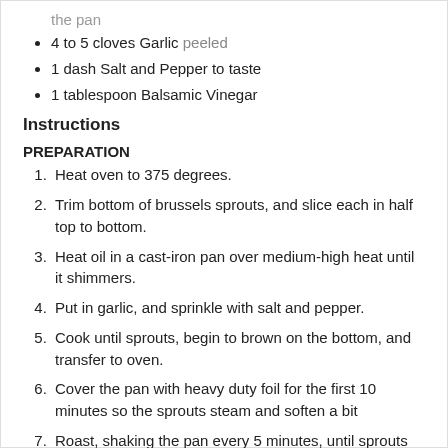the pan
4 to 5 cloves Garlic peeled
1 dash Salt and Pepper to taste
1 tablespoon Balsamic Vinegar
Instructions
PREPARATION
1. Heat oven to 375 degrees.
2. Trim bottom of brussels sprouts, and slice each in half top to bottom.
3. Heat oil in a cast-iron pan over medium-high heat until it shimmers.
4. Put in garlic, and sprinkle with salt and pepper.
5. Cook until sprouts, begin to brown on the bottom, and transfer to oven.
6. Cover the pan with heavy duty foil for the first 10 minutes so the sprouts steam and soften a bit
7. Roast, shaking the pan every 5 minutes, until sprouts are quite brown and tender, about 10 to 20 minutes.
8. Taste, and add more salt and pepper if necessary.